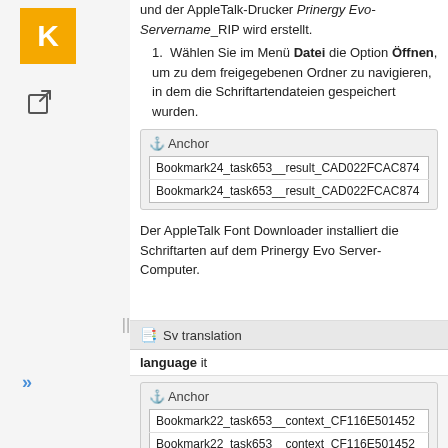und der AppleTalk-Drucker <Prinergy Evo-Servername>_RIP wird erstellt.
1. Wählen Sie im Menü Datei die Option Öffnen, um zu dem freigegebenen Ordner zu navigieren, in dem die Schriftartendateien gespeichert wurden.
⚓ Anchor
| Bookmark24_task653__result_CAD022FCAC874 |
| Bookmark24_task653__result_CAD022FCAC874 |
Der AppleTalk Font Downloader installiert die Schriftarten auf dem Prinergy Evo Server-Computer.
🖹 Sv translation
language it
⚓ Anchor
| Bookmark22_task653__context_CF116E501452 |
| Bookmark22_task653__context_CF116E501452 |